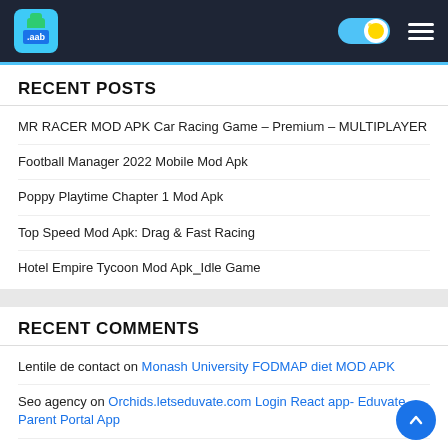.aab [logo header with toggle and menu]
RECENT POSTS
MR RACER MOD APK Car Racing Game – Premium – MULTIPLAYER
Football Manager 2022 Mobile Mod Apk
Poppy Playtime Chapter 1 Mod Apk
Top Speed Mod Apk: Drag & Fast Racing
Hotel Empire Tycoon Mod Apk⎯Idle Game
RECENT COMMENTS
Lentile de contact on Monash University FODMAP diet MOD APK
Seo agency on Orchids.letseduvate.com Login React app- Eduvate Parent Portal App